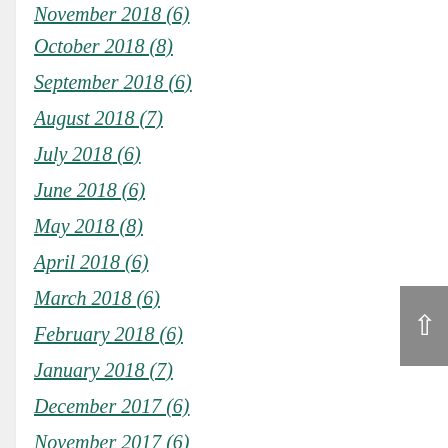November 2018 (6)
October 2018 (8)
September 2018 (6)
August 2018 (7)
July 2018 (6)
June 2018 (6)
May 2018 (8)
April 2018 (6)
March 2018 (6)
February 2018 (6)
January 2018 (7)
December 2017 (6)
November 2017 (6)
October 2017 (8)
September 2017 (6)